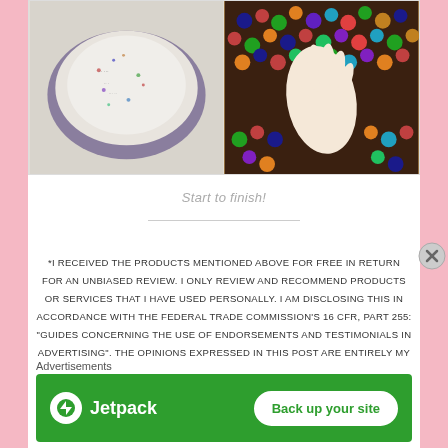[Figure (photo): Two side-by-side photos: left shows a white object soaking in a bowl with small colored dots/beads in clear liquid; right shows colorful water beads (orbeez) in a bowl with hands touching them.]
Start to finish!
*I RECEIVED THE PRODUCTS MENTIONED ABOVE FOR FREE IN RETURN FOR AN UNBIASED REVIEW. I ONLY REVIEW AND RECOMMEND PRODUCTS OR SERVICES THAT I HAVE USED PERSONALLY. I AM DISCLOSING THIS IN ACCORDANCE WITH THE FEDERAL TRADE COMMISSION'S 16 CFR, PART 255: "GUIDES CONCERNING THE USE OF ENDORSEMENTS AND TESTIMONIALS IN ADVERTISING". THE OPINIONS EXPRESSED IN THIS POST ARE ENTIRELY MY OWN.
Advertisements
[Figure (screenshot): Jetpack advertisement banner with green background showing Jetpack logo on the left and 'Back up your site' button on the right.]